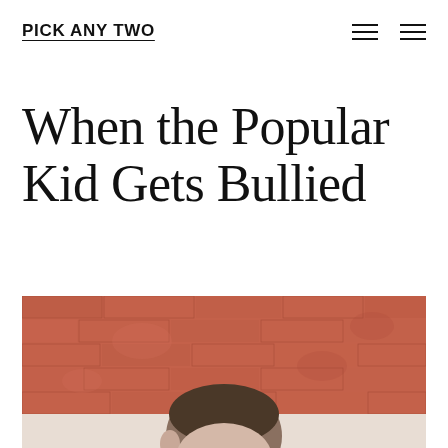PICK ANY TWO
When the Popular Kid Gets Bullied
[Figure (photo): A child seen from behind/side, head with dark hair, against a red/orange weathered brick wall background. The child appears to be looking down or to the side.]